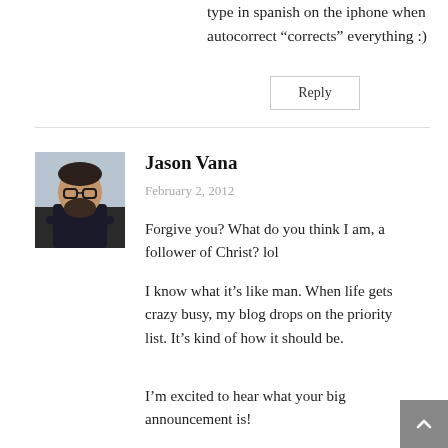type in spanish on the iphone when autocorrect “corrects” everything :)
Reply
Jason Vana
February 2, 2012
[Figure (photo): Profile photo of Jason Vana, a man with a beard and glasses wearing a dark sweater, arms crossed, outdoors]
Forgive you? What do you think I am, a follower of Christ? lol
I know what it’s like man. When life gets crazy busy, my blog drops on the priority list. It’s kind of how it should be.
I’m excited to hear what your big announcement is!